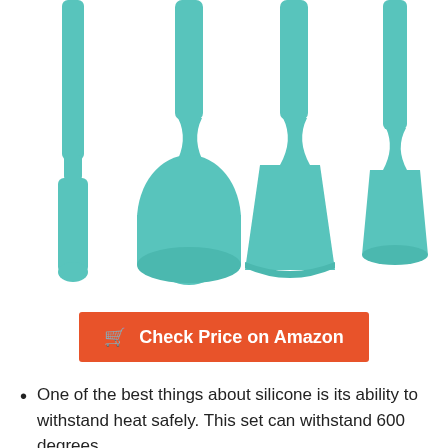[Figure (photo): Four teal/turquoise silicone spatulas of different sizes arranged side by side on a white background, handles pointing up]
Check Price on Amazon
One of the best things about silicone is its ability to withstand heat safely. This set can withstand 600 degrees